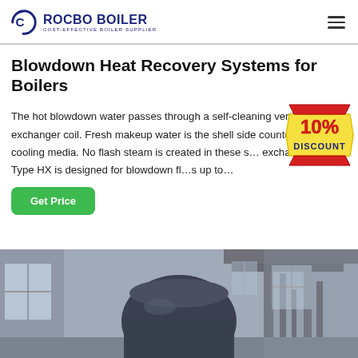[Figure (logo): Rocbo Boiler logo with circular arc icon and text 'ROCBO BOILER / COST-EFFECTIVE BOILER SUPPLIER' in dark blue]
Blowdown Heat Recovery Systems for Boilers
The hot blowdown water passes through a self-cleaning vertical heat exchanger coil. Fresh makeup water is the shell side counter flow cooling media. No flash steam is created in these s... exchangers. The Type HX is designed for blowdown fl...s up to...
[Figure (infographic): 10% DISCOUNT badge overlay in red and gold on the right side of the text area]
[Figure (photo): Industrial boiler room interior showing a large dark dome-shaped boiler, pipes, windows with natural light, and industrial equipment in a grey/blue facility]
Get Price